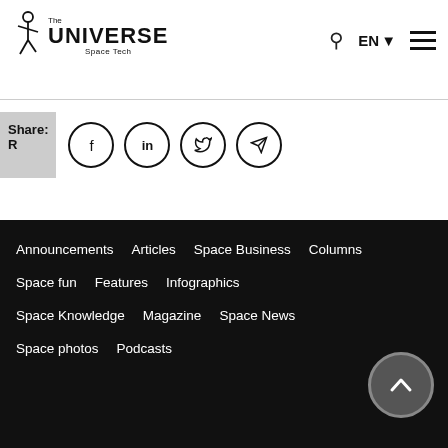The Universe Space Tech
Share: R
Announcements  Articles  Space Business  Columns  Space fun  Features  Infographics  Space Knowledge  Magazine  Space News  Space photos  Podcasts